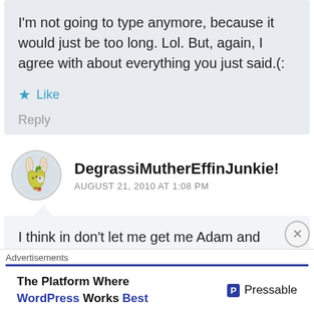I'm not going to type anymore, because it would just be too long. Lol. But, again, I agree with about everything you just said.(:
Like
Reply
DegrassiMutherEffinJunkie!
AUGUST 21, 2010 AT 1:08 PM
I think in don't let me get me Adam and Fiona possibly come together because I think both of them are going through self destructive thing
Advertisements
The Platform Where WordPress Works Best